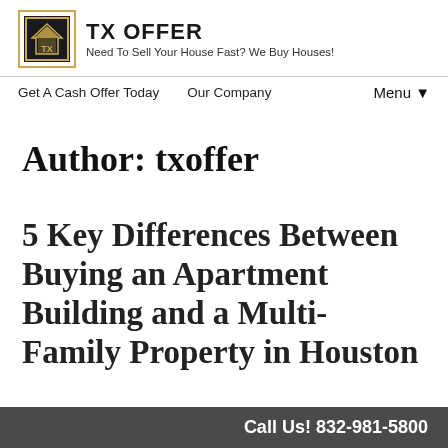[Figure (logo): TX Offer logo: black square with gold border containing a house icon with TX text, next to bold text TX OFFER and tagline Need To Sell Your House Fast? We Buy Houses!]
Get A Cash Offer Today   Our Company   Menu ▼
Author: txoffer
5 Key Differences Between Buying an Apartment Building and a Multi-Family Property in Houston
Call Us! 832-981-5800